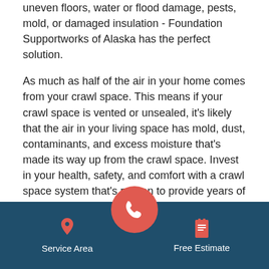uneven floors, water or flood damage, pests, mold, or damaged insulation - Foundation Supportworks of Alaska has the perfect solution.
As much as half of the air in your home comes from your crawl space. This means if your crawl space is vented or unsealed, it's likely that the air in your living space has mold, dust, contaminants, and excess moisture that's made its way up from the crawl space. Invest in your health, safety, and comfort with a crawl space system that's proven to provide years of worry-free performance and protection.
Call 1-509-213-0245 today to schedule your on-site crawl space repair consultation and free cost estimate, available in Anchorage, Wasilla, Juneau and surrounding areas in Alaska.
Service Area | [phone] | Free Estimate